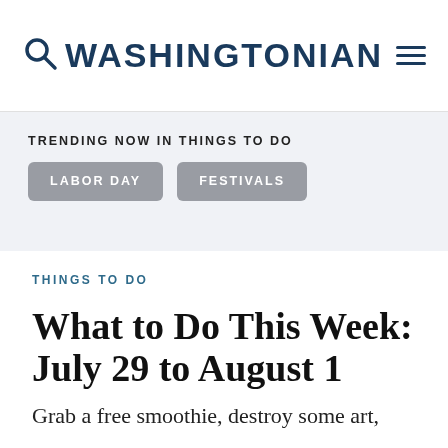WASHINGTONIAN
TRENDING NOW IN THINGS TO DO
LABOR DAY
FESTIVALS
THINGS TO DO
What to Do This Week: July 29 to August 1
Grab a free smoothie, destroy some art,